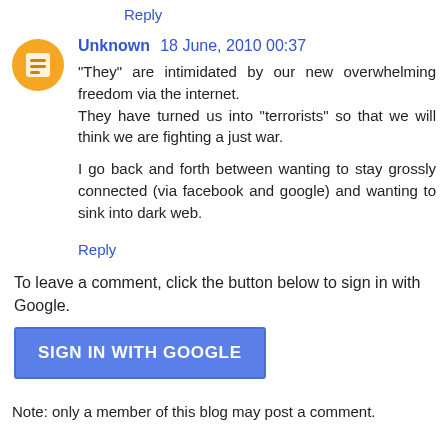Reply
[Figure (illustration): Orange circle avatar with blog icon (Blogger logo style)]
Unknown 18 June, 2010 00:37
"They" are intimidated by our new overwhelming freedom via the internet.
They have turned us into "terrorists" so that we will think we are fighting a just war.

I go back and forth between wanting to stay grossly connected (via facebook and google) and wanting to sink into dark web.

Reply
To leave a comment, click the button below to sign in with Google.
SIGN IN WITH GOOGLE
Note: only a member of this blog may post a comment.